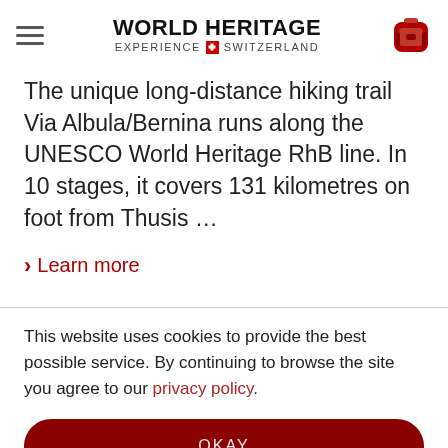WORLD HERITAGE EXPERIENCE SWITZERLAND
The unique long-distance hiking trail Via Albula/Bernina runs along the UNESCO World Heritage RhB line. In 10 stages, it covers 131 kilometres on foot from Thusis …
> Learn more
This website uses cookies to provide the best possible service. By continuing to browse the site you agree to our privacy policy.
OKAY